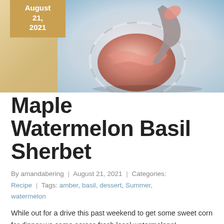[Figure (photo): A glass bowl filled with watermelon sherbet being scooped with a spoon, on a light blue background. A golden/tan date box in the upper left reads 'August 21, 2021'.]
Maple Watermelon Basil Sherbet
By amandabering | August 21, 2021 | Categories: Recipe | Tags: amber, basil, dessert, Summer, watermelon
While out for a drive this past weekend to get some sweet corn for dinner we came across fresh local watermelons!